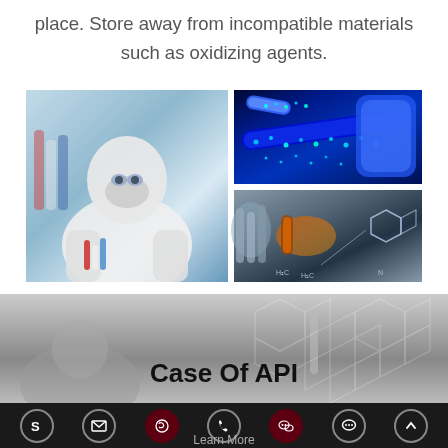place. Store away from incompatible materials such as oxidizing agents.
[Figure (photo): Collage of three laboratory photos: left shows a scientist in full protective gear (white suit, mask, gloves) handling test tubes in a lab; top right shows glowing blue DNA/molecular visualization on test tubes; bottom right shows chemical structure diagrams with molecular models and test tubes with orange glow]
[Figure (photo): Grayscale banner image of a lab scientist with molecular hexagon pattern overlay, with bold text 'Case Of API']
Case Of API — Learn More — footer navigation bar with social icons (Skype, Email, WhatsApp, Phone, WeChat, Chat, Up arrow)